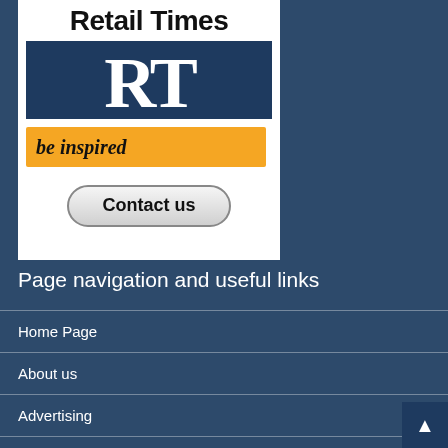[Figure (logo): Retail Times logo: text 'Retail Times' at top, dark navy blue box with large white serif 'RT' letters, yellow brushstroke banner with italic text 'be inspired', and a rounded 'Contact us' button below.]
Page navigation and useful links
Home Page
About us
Advertising
Contact us